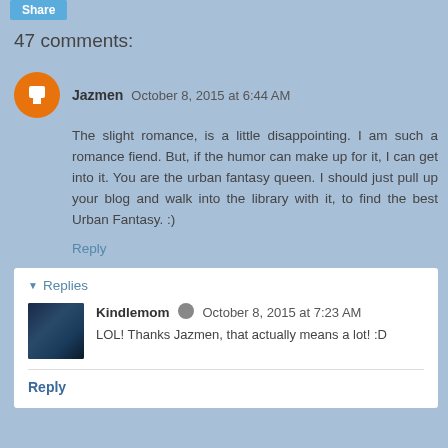47 comments:
Jazmen October 8, 2015 at 6:44 AM
The slight romance, is a little disappointing. I am such a romance fiend. But, if the humor can make up for it, I can get into it. You are the urban fantasy queen. I should just pull up your blog and walk into the library with it, to find the best Urban Fantasy. :)
Reply
Replies
Kindlemom October 8, 2015 at 7:23 AM
LOL! Thanks Jazmen, that actually means a lot! :D
Reply